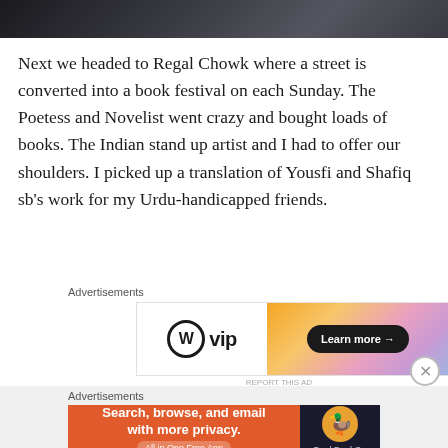[Figure (photo): Partial photo strip at top of page, dark gray tones, appears to be a vehicle or object surface]
Next we headed to Regal Chowk where a street is converted into a book festival on each Sunday. The Poetess and Novelist went crazy and bought loads of books. The Indian stand up artist and I had to offer our shoulders. I picked up a translation of Yousfi and Shafiq sb's work for my Urdu-handicapped friends.
Advertisements
[Figure (screenshot): WordPress VIP advertisement banner with logo on left and orange/pink gradient with Learn more button on right]
Advertisements
[Figure (screenshot): DuckDuckGo advertisement: Search, browse, and email with more privacy. All in One Free App]